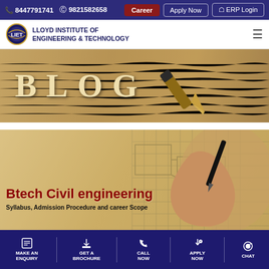8447791741   9821582658   Career   Apply Now   ERP Login
[Figure (logo): Lloyd Institute of Engineering & Technology logo with laurel wreath emblem]
LLOYD INSTITUTE OF ENGINEERING & TECHNOLOGY
[Figure (photo): Blog banner with decorative handwriting background and fountain pen image on the right, with large text 'BLOG']
[Figure (photo): Article card for Btech Civil engineering with a hand drawing engineering diagrams in the background]
Btech Civil engineering
Syllabus, Admission Procedure and career Scope
MAKE AN ENQUIRY   GET A BROCHURE   CALL NOW   APPLY NOW   CHAT